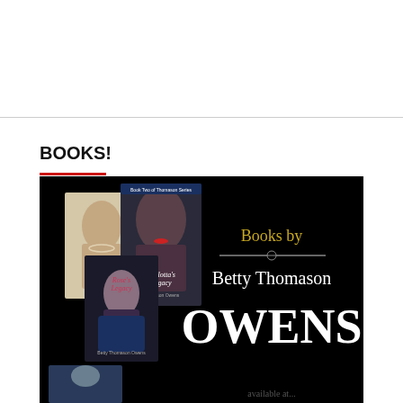BOOKS!
[Figure (illustration): Promotional banner on black background showing book covers of Annie's Legacy, Carlotta's Legacy, and Rose's Legacy by Betty Thomason Owens, with text 'Books by Betty Thomason OWENS' in gold and white lettering, and a fourth book cover partially visible at the bottom.]